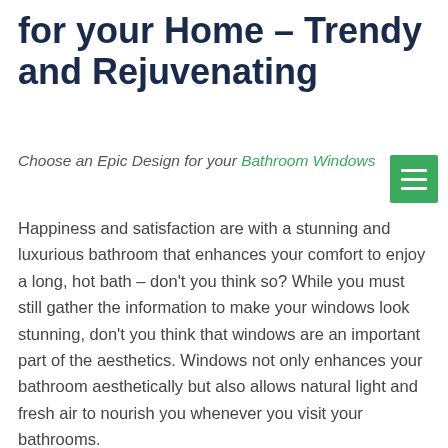for your Home – Trendy and Rejuvenating
Choose an Epic Design for your Bathroom Windows
Happiness and satisfaction are with a stunning and luxurious bathroom that enhances your comfort to enjoy a long, hot bath – don't you think so? While you must still gather the information to make your windows look stunning, don't you think that windows are an important part of the aesthetics. Windows not only enhances your bathroom aesthetically but also allows natural light and fresh air to nourish you whenever you visit your bathrooms.